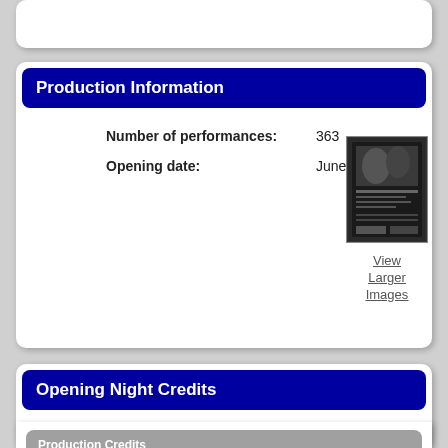Production Information
Number of performances: 363
Opening date: June 19, 1985
[Figure (photo): Theater production poster/playbill image (black and white)]
View Larger Images
Opening Night Credits
Production Credits
| Person/Company | Credit |
| --- | --- |
| Gerald A. Davis | Producer |
| Theatre In Limbo | Producer |
| Kenneth Elliott | Artistic Director |